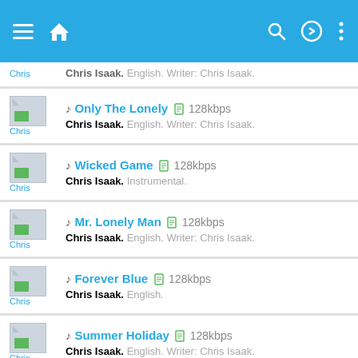App navigation bar with menu, home, search, login, and more icons
Chris Isaak. English. Writer: Chris Isaak. (partial, top)
Only The Lonely 128kbps — Chris Isaak. English. Writer: Chris Isaak.
Wicked Game 128kbps — Chris Isaak. Instrumental.
Mr. Lonely Man 128kbps — Chris Isaak. English. Writer: Chris Isaak.
Forever Blue 128kbps — Chris Isaak. English.
Summer Holiday 128kbps — Chris Isaak. English. Writer: Chris Isaak.
Two Hearts 128kbps — Chris Isaak. English. Writer: Chris Isaak.